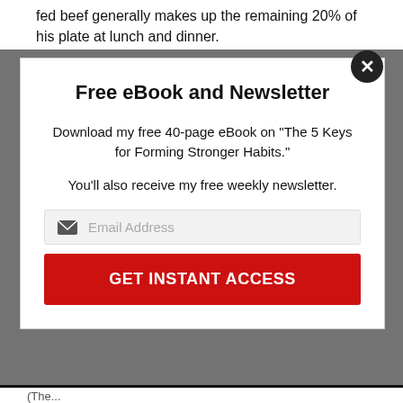fed beef generally makes up the remaining 20% of his plate at lunch and dinner.
Free eBook and Newsletter
Download my free 40-page eBook on "The 5 Keys for Forming Stronger Habits."
You'll also receive my free weekly newsletter.
GET INSTANT ACCESS
(The...